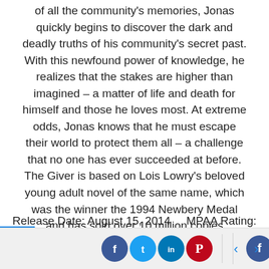of all the community's memories, Jonas quickly begins to discover the dark and deadly truths of his community's secret past. With this newfound power of knowledge, he realizes that the stakes are higher than imagined – a matter of life and death for himself and those he loves most. At extreme odds, Jonas knows that he must escape their world to protect them all – a challenge that no one has ever succeeded at before. The Giver is based on Lois Lowry's beloved young adult novel of the same name, which was the winner the 1994 Newbery Medal and has sold over 10 million copies worldwide.
Release Date: August 15, 2014     MPAA Rating: PG-13
[Figure (other): Social media sharing buttons (Facebook, Twitter, LinkedIn, Pinterest) and navigation arrows (left/right) in a bottom bar.]